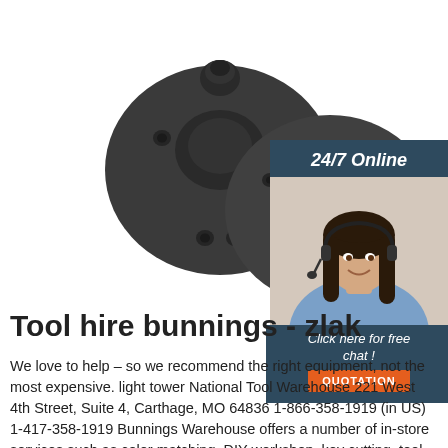[Figure (photo): Two dark grey metal mounting flanges/strut mounts viewed from above on white background]
[Figure (photo): 24/7 Online chat sidebar with woman wearing headset smiling, dark blue background, with 'Click here for free chat!' text and orange QUOTATION button]
Tool hire bunnings - zlak
We love to help – so we recommend the right equipment, not the most expensive. light tower National Tool Warehouse 221 West 4th Street, Suite 4, Carthage, MO 64836 1-866-358-1919 (in US) 1-417-358-1919 Bunnings Warehouse offers a number of in-store services such as color matching, DIY workshop, key cutting, tool hire